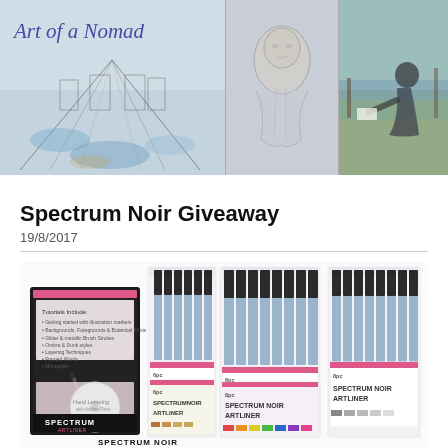[Figure (photo): Header collage: left panel shows a watercolor sketch of a corridor with script 'Art of a Nomad' title text in blue cursive; center panel shows a pencil portrait drawing in progress; right panel shows a woman sitting outdoors drawing by a waterfront.]
Spectrum Noir Giveaway
19/8/2017
[Figure (photo): Product photo of Spectrum Noir Artliner pen sets and a DVD tutorial package for 'Hand Lettering with Artliner'. Multiple boxed sets of grey marker pens with blue caps are shown alongside colorful themed sets and the instructional DVD.]